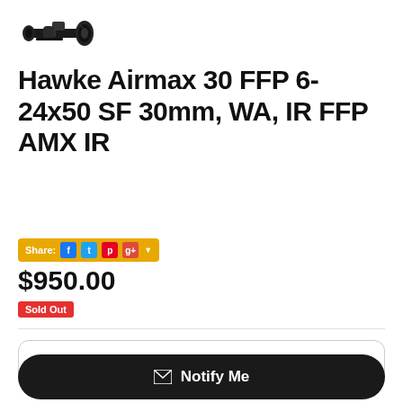[Figure (photo): Hawke rifle scope product image, side view, black scope on white background]
Hawke Airmax 30 FFP 6-24x50 SF 30mm, WA, IR FFP AMX IR
Share: [Facebook] [Twitter] [Pinterest] [Google+]
$950.00
Sold Out
1
Notify Me